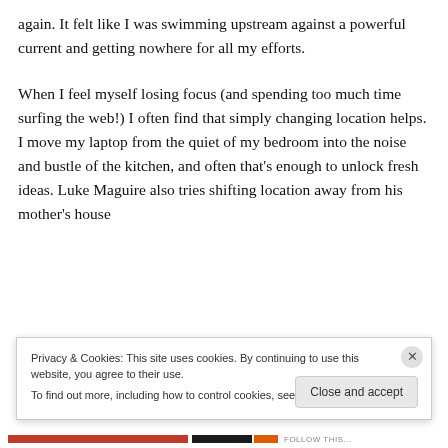again. It felt like I was swimming upstream against a powerful current and getting nowhere for all my efforts.
When I feel myself losing focus (and spending too much time surfing the web!) I often find that simply changing location helps. I move my laptop from the quiet of my bedroom into the noise and bustle of the kitchen, and often that's enough to unlock fresh ideas. Luke Maguire also tries shifting location away from his mother's house
Privacy & Cookies: This site uses cookies. By continuing to use this website, you agree to their use.
To find out more, including how to control cookies, see here: Cookie Policy
Close and accept